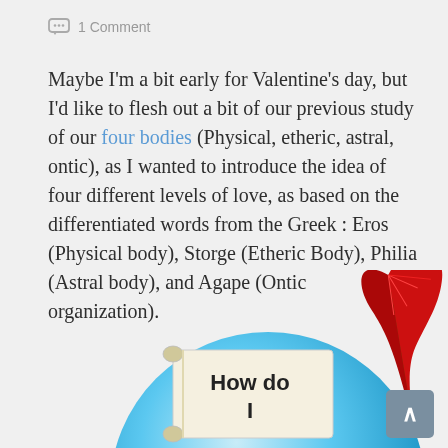1 Comment
Maybe I'm a bit early for Valentine's day, but I'd like to flesh out a bit of our previous study of our four bodies (Physical, etheric, astral, ontic), as I wanted to introduce the idea of four different levels of love, as based on the differentiated words from the Greek : Eros (Physical body), Storge (Etheric Body), Philia (Astral body), and Agape (Ontic organization).
[Figure (illustration): Illustration showing a blue circle with a scroll that reads 'How do I' and a red feather quill pen beside it.]